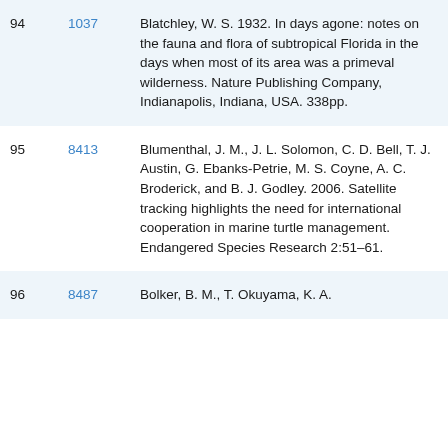| # | Code | Reference |
| --- | --- | --- |
| 94 | 1037 | Blatchley, W. S. 1932. In days agone: notes on the fauna and flora of subtropical Florida in the days when most of its area was a primeval wilderness. Nature Publishing Company, Indianapolis, Indiana, USA. 338pp. |
| 95 | 8413 | Blumenthal, J. M., J. L. Solomon, C. D. Bell, T. J. Austin, G. Ebanks-Petrie, M. S. Coyne, A. C. Broderick, and B. J. Godley. 2006. Satellite tracking highlights the need for international cooperation in marine turtle management. Endangered Species Research 2:51–61. |
| 96 | 8487 | Bolker, B. M., T. Okuyama, K. A. |